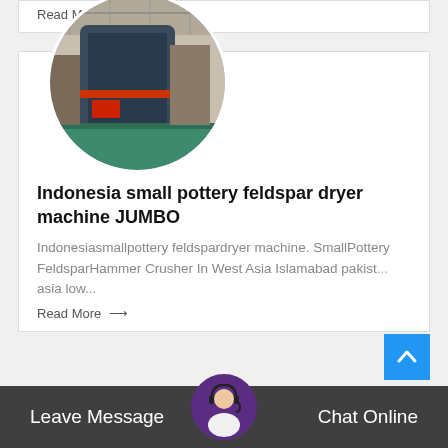Read More →
[Figure (photo): Circular cropped photo of industrial machinery (dryer machine) in a large factory warehouse]
Indonesia small pottery feldspar dryer machine JUMBO
Indonesiasmallpottery feldspardryer machine. SmallPottery FeldsparHammer Crusher In West Asia Islamabad pakist... asia low...
Read More →
Leave Message
Chat Online